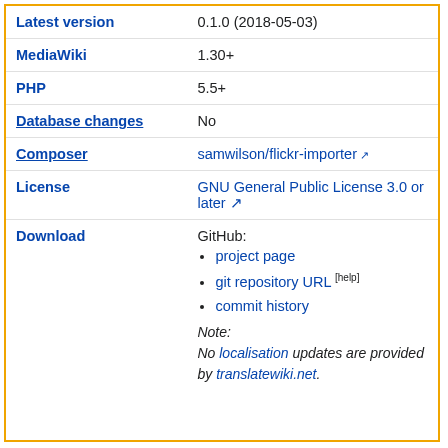| Property | Value |
| --- | --- |
| Latest version | 0.1.0 (2018-05-03) |
| MediaWiki | 1.30+ |
| PHP | 5.5+ |
| Database changes | No |
| Composer | samwilson/flickr-importer ↗ |
| License | GNU General Public License 3.0 or later ↗ |
| Download | GitHub:
• project page
• git repository URL [help]
• commit history
Note:
No localisation updates are provided by translatewiki.net. |